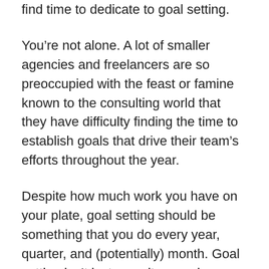find time to dedicate to goal setting.
You’re not alone. A lot of smaller agencies and freelancers are so preoccupied with the feast or famine known to the consulting world that they have difficulty finding the time to establish goals that drive their team’s efforts throughout the year.
Despite how much work you have on your plate, goal setting should be something that you do every year, quarter, and (potentially) month. Goal setting isn’t just a vanity exercise. When purposefully created, goals help serve several basic functions for your team and business: